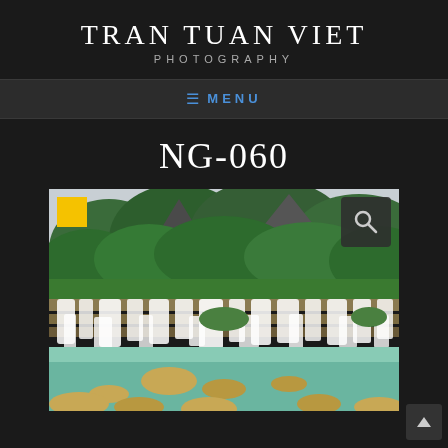TRAN TUAN VIET PHOTOGRAPHY
≡ MENU
NG-060
[Figure (photo): Landscape photograph of Ban Gioc waterfall with green forested mountains in background, wide cascading waterfalls over mossy rocks, and turquoise water pool in foreground with boulders. National Geographic logo in top-left corner, search icon in top-right corner.]